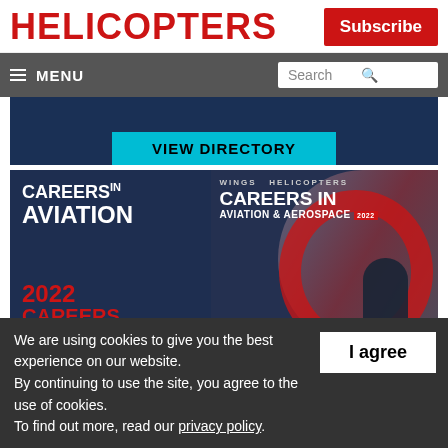HELICOPTERS
Subscribe
≡ MENU
Search
[Figure (screenshot): VIEW DIRECTORY banner with dark blue background and cyan button]
[Figure (screenshot): Careers in Aviation 2022 promotional image showing two magazine covers — one with 'CAREERS in AVIATION 2022' in red/white on dark blue background, and another showing 'WINGS HELICOPTERS CAREERS IN AVIATION & AEROSPACE' with a person and gear machinery background]
We are using cookies to give you the best experience on our website.
By continuing to use the site, you agree to the use of cookies.
To find out more, read our privacy policy.
I agree